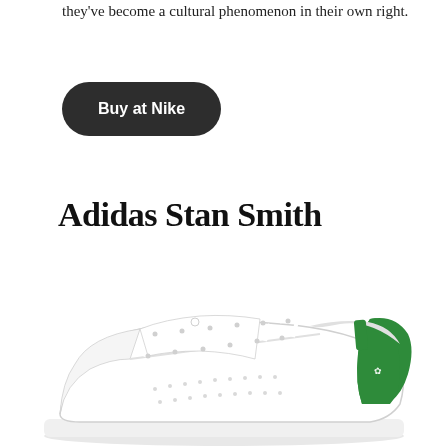they've become a cultural phenomenon in their own right.
[Figure (other): Dark rounded rectangular button with white bold text reading 'Buy at Nike']
Adidas Stan Smith
[Figure (photo): Adidas Stan Smith sneaker, white leather with green heel tab and three green stripes detail, side profile view on white background]